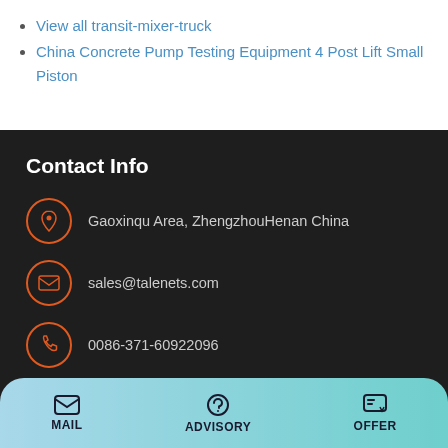View all transit-mixer-truck
China Concrete Pump Testing Equipment 4 Post Lift Small Piston
Contact Info
Gaoxinqu Area, ZhengzhouHenan China
sales@talenets.com
0086-371-60922096
Products
concrete mixer pump
MAIL  ADVISORY  OFFER